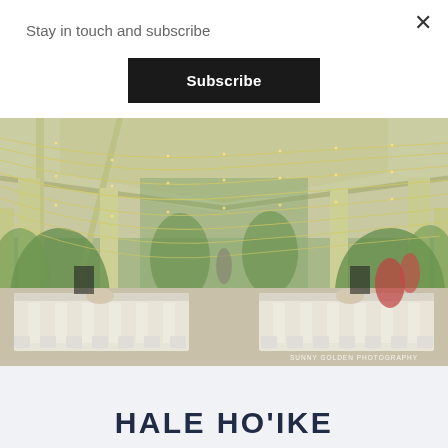Stay in touch and subscribe
Subscribe
[Figure (photo): Wedding venue pavilion with string lights draped across a wooden ceiling structure, long reception tables set with white linens, floral centerpieces, and tropical greenery in the background. Watermark reads SUNNY GOLDEN PHOTOGRAPHY.]
HALE HO'IKE